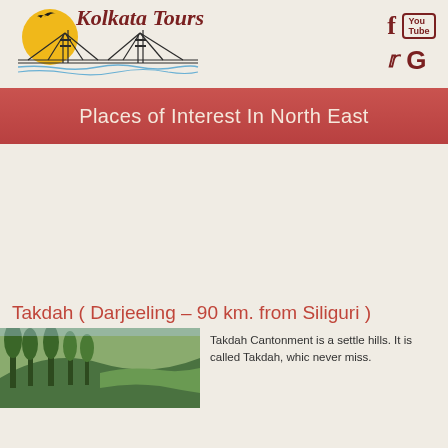[Figure (logo): Kolkata Tours logo with Howrah Bridge illustration and yellow sun with bird silhouette]
[Figure (infographic): Social media icons: Facebook (f), YouTube, Twitter (bird), Google+ (G) in dark red color]
Places of Interest In North East
[Figure (photo): Advertisement banner area (empty/blank space)]
Takdah ( Darjeeling – 90 km. from Siliguri )
[Figure (photo): Green forest/hill landscape photo showing tall pine trees and terraced hillside]
Takdah Cantonment is a settle hills. It is called Takdah, whic never miss.